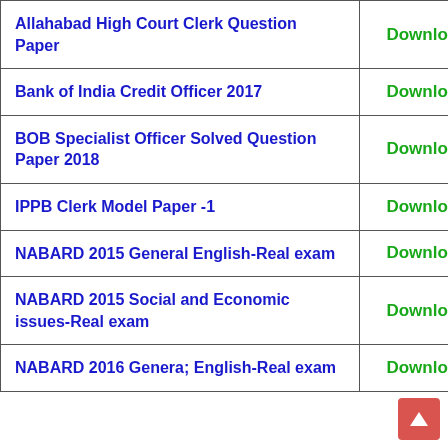|  |  |
| --- | --- |
| Allahabad High Court Clerk Question Paper | Download |
| Bank of India Credit Officer 2017 | Download |
| BOB Specialist Officer Solved Question Paper 2018 | Download |
| IPPB Clerk Model Paper -1 | Download |
| NABARD 2015 General English-Real exam | Download |
| NABARD 2015 Social and Economic issues-Real exam | Download |
| NABARD 2016 Genera; English-Real exam | Download |